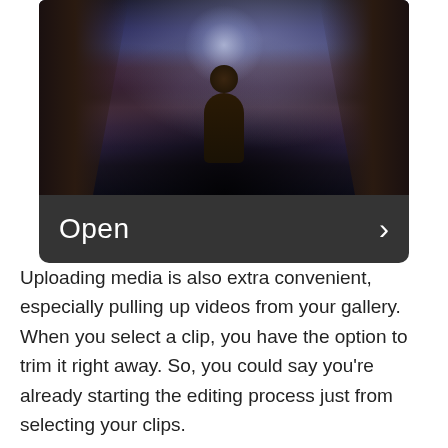[Figure (screenshot): A dark cave scene screenshot with a silhouetted figure facing a glowing light source, with an 'Open' button bar and right arrow chevron overlaid at the bottom]
Uploading media is also extra convenient, especially pulling up videos from your gallery. When you select a clip, you have the option to trim it right away. So, you could say you're already starting the editing process just from selecting your clips.
The video editor
Meanwhile, on the editing timeline, you will get mini-tutorial guides as you tap each editing tool. Its database of featured music and sound effects is also impressive. You can find SFX of animals, insects,